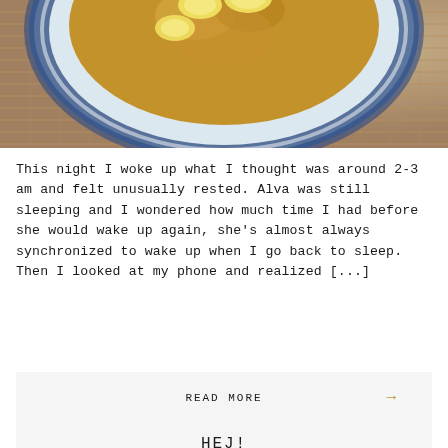[Figure (photo): Overhead photo of a blue and white decorative bowl filled with granola/cereal topped with banana slices, placed on a woven mat/surface]
This night I woke up what I thought was around 2-3 am and felt unusually rested. Alva was still sleeping and I wondered how much time I had before she would wake up again, she's almost always synchronized to wake up when I go back to sleep. Then I looked at my phone and realized [...]
READ MORE →
HEJ!